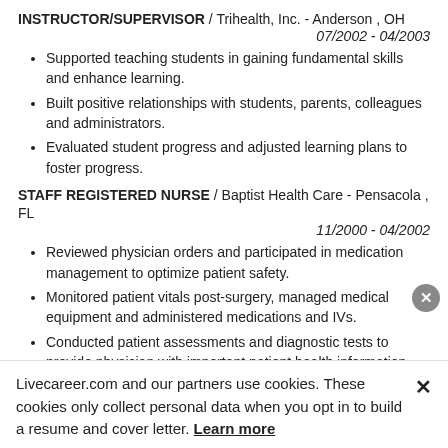INSTRUCTOR/SUPERVISOR  /  Trihealth, Inc. - Anderson , OH  07/2002 - 04/2003
Supported teaching students in gaining fundamental skills and enhance learning.
Built positive relationships with students, parents, colleagues and administrators.
Evaluated student progress and adjusted learning plans to foster progress.
STAFF REGISTERED NURSE  /  Baptist Health Care - Pensacola , FL  11/2000 - 04/2002
Reviewed physician orders and participated in medication management to optimize patient safety.
Monitored patient vitals post-surgery, managed medical equipment and administered medications and IVs.
Conducted patient assessments and diagnostic tests to provide physician with important patient health information.
Circulated throughout multiple hospital departments to
Livecareer.com and our partners use cookies. These cookies only collect personal data when you opt in to build a resume and cover letter. Learn more